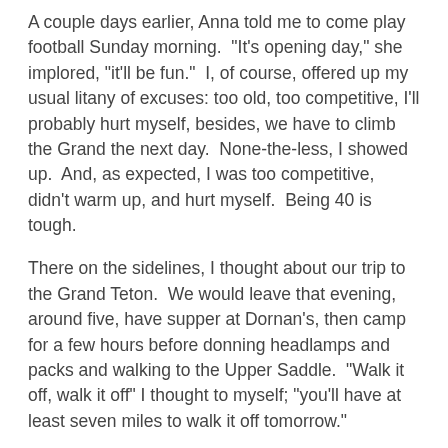A couple days earlier, Anna told me to come play football Sunday morning.  "It's opening day," she implored, "it'll be fun."  I, of course, offered up my usual litany of excuses: too old, too competitive, I'll probably hurt myself, besides, we have to climb the Grand the next day.  None-the-less, I showed up.  And, as expected, I was too competitive, didn't warm up, and hurt myself.  Being 40 is tough.
There on the sidelines, I thought about our trip to the Grand Teton.  We would leave that evening, around five, have supper at Dornan's, then camp for a few hours before donning headlamps and packs and walking to the Upper Saddle.  "Walk it off, walk it off" I thought to myself; "you'll have at least seven miles to walk it off tomorrow."
***